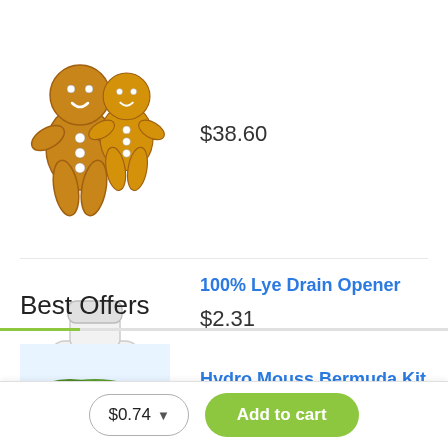[Figure (photo): Two gingerbread man cookies side by side]
$38.60
[Figure (photo): White bottle of 100% Lye Drain Opener with colorful label]
100% Lye Drain Opener
$2.31
Best Offers
[Figure (photo): Hydro Mouss Bermuda Kit product image partially visible]
Hydro Mouss Bermuda Kit
$0.74
Add to cart